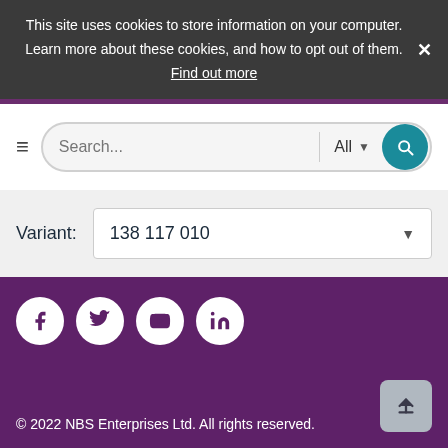This site uses cookies to store information on your computer. Learn more about these cookies, and how to opt out of them. Find out more
[Figure (screenshot): Search bar with hamburger menu, text input, All dropdown, and teal search button]
Variant: 138 117 010
[Figure (infographic): Social media icons: Facebook, Twitter, YouTube, LinkedIn on purple footer]
© 2022 NBS Enterprises Ltd. All rights reserved.